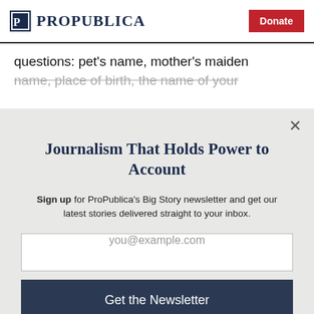ProPublica | Donate
questions: pet’s name, mother’s maiden name, place of birth, the name of your
Journalism That Holds Power to Account
Sign up for ProPublica’s Big Story newsletter and get our latest stories delivered straight to your inbox.
you@example.com
Get the Newsletter
No thanks, I’m all set
This site is protected by reCAPTCHA and the Google Privacy Policy and Terms of Service apply.